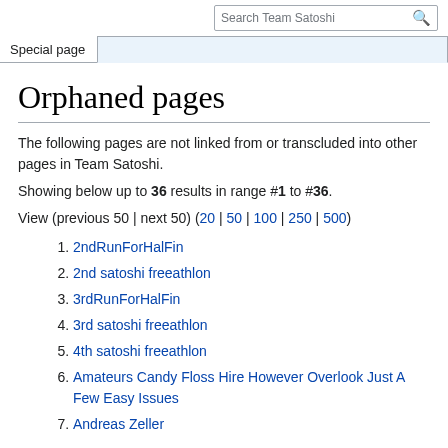Search Team Satoshi
Special page
Orphaned pages
The following pages are not linked from or transcluded into other pages in Team Satoshi.
Showing below up to 36 results in range #1 to #36.
View (previous 50 | next 50) (20 | 50 | 100 | 250 | 500)
2ndRunForHalFin
2nd satoshi freeathlon
3rdRunForHalFin
3rd satoshi freeathlon
4th satoshi freeathlon
Amateurs Candy Floss Hire However Overlook Just A Few Easy Issues
Andreas Zeller